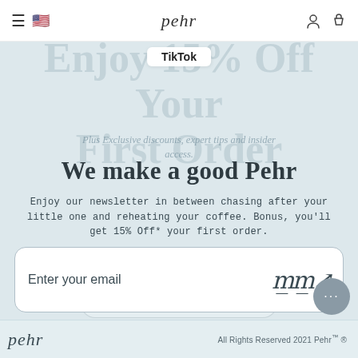pehr — navigation bar with hamburger menu, flag icon, logo, user icon, bag icon
TikTok
Enjoy 15% Off Your First Order
Plus Exclusive discounts, expert tips and insider access.
We make a good Pehr
Enjoy our newsletter in between chasing after your little one and reheating your coffee. Bonus, you'll get 15% Off* your first order.
I'M EXPECTING
Enter your email
I'M A PARENT
I'M GIFTING
pehr — All Rights Reserved 2021 Pehr™ ®